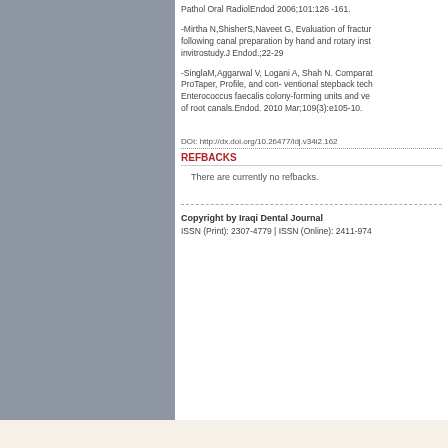Pathol Oral RadiolEndod 2006;101:126-161.
-Mirtha N,ShisherS,Naveet G, Evaluation of fracture following canal preparation by hand and rotary inst invitrostudy.J Endod.;22-29
-SingleM,Aggarwal V, Logani A, Shah N. Comparative ProTaper, Profile, and con- ventional stepback tech Enterococcus faecalis colony-forming units and ve of root canals.Endod. 2010 Mar;109(3):e105-10.
DOI: http://dx.doi.org/10.26477/idj.v34i2.162
REFBACKS
There are currently no refbacks.
Copyright by Iraqi Dental Journal
ISSN (Print): 2307-4779 | ISSN (Online): 2411-974